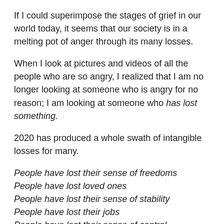If I could superimpose the stages of grief in our world today, it seems that our society is in a melting pot of anger through its many losses.
When I look at pictures and videos of all the people who are so angry, I realized that I am no longer looking at someone who is angry for no reason; I am looking at someone who has lost something.
2020 has produced a whole swath of intangible losses for many.
People have lost their sense of freedoms
People have lost loved ones
People have lost their sense of stability
People have lost their jobs
People have lost their sense of control
People have lost their sense of peace